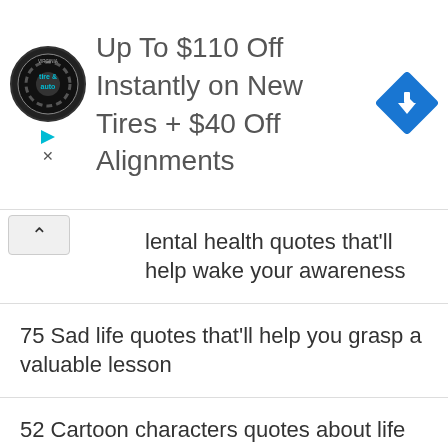[Figure (infographic): Advertisement banner: Virginia Tire & Auto logo circle, text 'Up To $110 Off Instantly on New Tires + $40 Off Alignments', blue diamond arrow icon on right, play/close icons on left]
Mental health quotes that'll help wake your awareness
75 Sad life quotes that'll help you grasp a valuable lesson
52 Cartoon characters quotes about life that'll inspire you
100 Famous quotes and sayings by Oscar Wilde
56 Angel quotes that'll inspire you and calms the heart